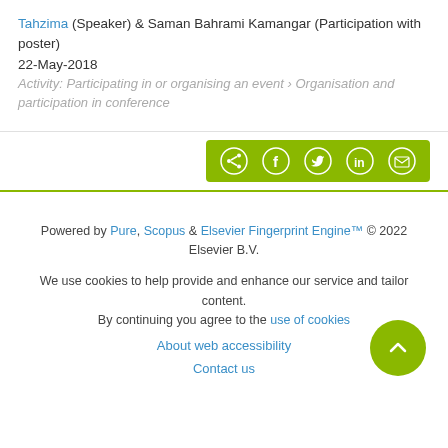Tahzima (Speaker) & Saman Bahrami Kamangar (Participation with poster)
22-May-2018
Activity: Participating in or organising an event › Organisation and participation in conference
[Figure (other): Social sharing button bar with share, Facebook, Twitter, LinkedIn, and email icons on a yellow-green background]
Powered by Pure, Scopus & Elsevier Fingerprint Engine™ © 2022 Elsevier B.V.
We use cookies to help provide and enhance our service and tailor content. By continuing you agree to the use of cookies
About web accessibility
Contact us